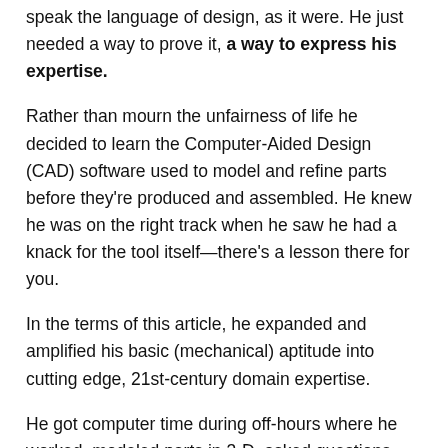speak the language of design, as it were. He just needed a way to prove it, a way to express his expertise.
Rather than mourn the unfairness of life he decided to learn the Computer-Aided Design (CAD) software used to model and refine parts before they're produced and assembled. He knew he was on the right track when he saw he had a knack for the tool itself—there's a lesson there for you.
In the terms of this article, he expanded and amplified his basic (mechanical) aptitude into cutting edge, 21st-century domain expertise.
He got computer time during off-hours where he worked, modeled parts in 3-D, asked questions and took notes. He found no conspiracy against him to learn, and later to get hired.